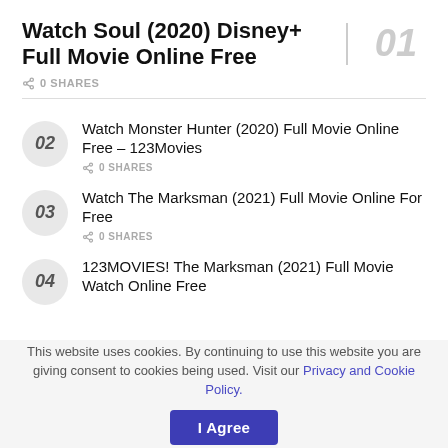Watch Soul (2020) Disney+ Full Movie Online Free
0 SHARES
Watch Monster Hunter (2020) Full Movie Online Free – 123Movies
0 SHARES
Watch The Marksman (2021) Full Movie Online For Free
0 SHARES
123MOVIES! The Marksman (2021) Full Movie Watch Online Free
This website uses cookies. By continuing to use this website you are giving consent to cookies being used. Visit our Privacy and Cookie Policy.
I Agree